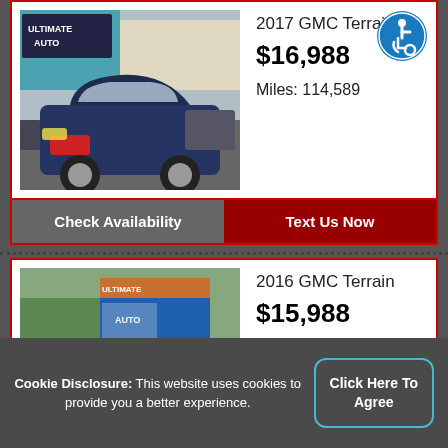[Figure (photo): 2017 GMC Terrain dark blue SUV at dealership lot (Ultimate Auto)]
2017 GMC Terrain
$16,988
Miles: 114,589
[Figure (logo): Accessibility icon: circle with wheelchair user symbol in blue]
Check Availability
Text Us Now
[Figure (photo): 2016 GMC Terrain white SUV at Ultimate Auto dealership]
2016 GMC Terrain
$15,988
Miles: 107,246
Cookie Disclosure: This website uses cookies to provide you a better experience.
Click Here To Agree